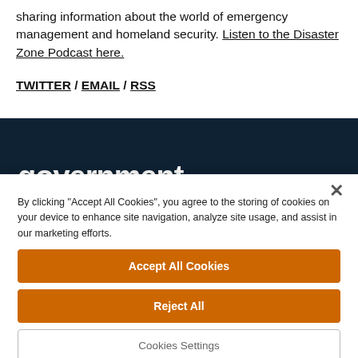sharing information about the world of emergency management and homeland security. Listen to the Disaster Zone Podcast here.
TWITTER / EMAIL / RSS
[Figure (logo): Government technology publication logo on dark navy background, showing the word 'government' in white bold lowercase letters]
By clicking "Accept All Cookies", you agree to the storing of cookies on your device to enhance site navigation, analyze site usage, and assist in our marketing efforts.
Accept All Cookies
Reject All
Cookies Settings